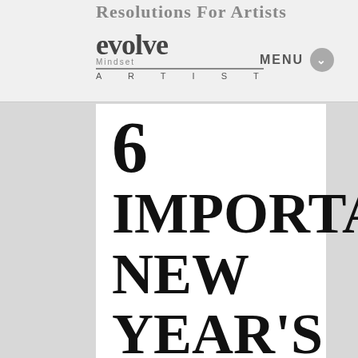Resolutions For Artists
[Figure (logo): Evolve Mindset Artist logo with text 'evolve', 'Mindset', and 'A R T I S T']
MENU
6 IMPORTANT NEW YEAR'S RESOLUTIONS FOR